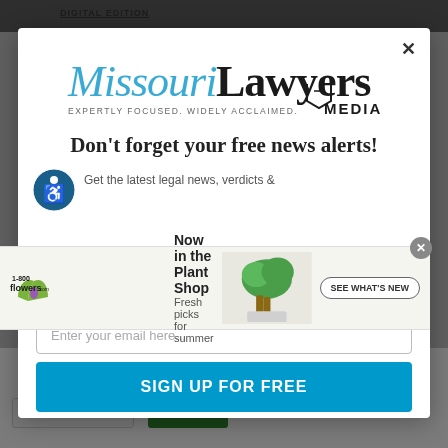DIGITAL EDITION
[Figure (logo): Missouri Lawyers Media logo with tagline 'EXPERTLY FOCUSED. WIDELY ACCLAIMED.']
Don't forget your free news alerts!
Get the latest legal news, verdicts &
[Figure (infographic): 1-800-flowers.com advertisement: 'Now in the Plant Shop - Fresh picks for summer' with plant image and 'SEE WHAT'S NEW' button]
Enter your email here...
SIGN UP FOR FREE
Cookie Settings
ACCEPT ALL